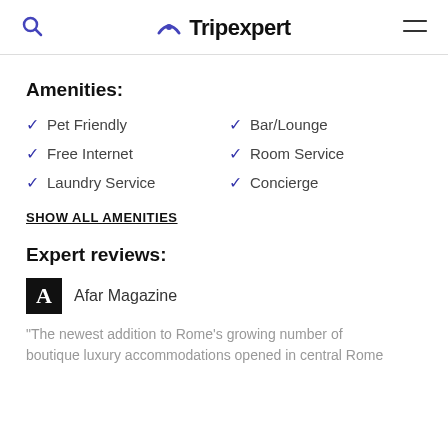Tripexpert
Amenities:
Pet Friendly
Bar/Lounge
Free Internet
Room Service
Laundry Service
Concierge
SHOW ALL AMENITIES
Expert reviews:
Afar Magazine
"The newest addition to Rome's growing number of boutique luxury accommodations opened in central Rome